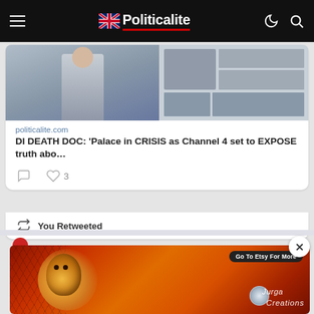Politicalite
[Figure (screenshot): Embedded tweet showing a link card with image from politicalite.com. Headline: DI DEATH DOC: 'Palace in CRISIS as Channel 4 set to EXPOSE truth abo…'. Shows reply and 3 heart/like icons.]
politicalite.com
DI DEATH DOC: 'Palace in CRISIS as Channel 4 set to EXPOSE truth abo…
You Retweeted
[Figure (illustration): Advertisement banner for Jurga Creations on Etsy. Features a colorful folk-art style face with honeycomb pattern, orange/red background. Shows 'Go To Etsy For More' button and 'Jurga Creations' branding.]